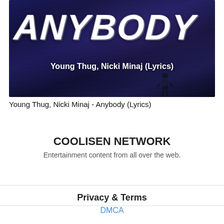[Figure (photo): Thumbnail image for a YouTube lyrics video: 'ANYBODY' in large white grunge-style text over a dark blue/purple fantasy night scene background. Below the title text reads 'Young Thug, Nicki Minaj (Lyrics)' in bold white font. A silhouetted figure stands in the lower right area.]
Young Thug, Nicki Minaj - Anybody (Lyrics)
COOLISEN NETWORK
Entertainment content from all over the web.
Privacy & Terms
DMCA